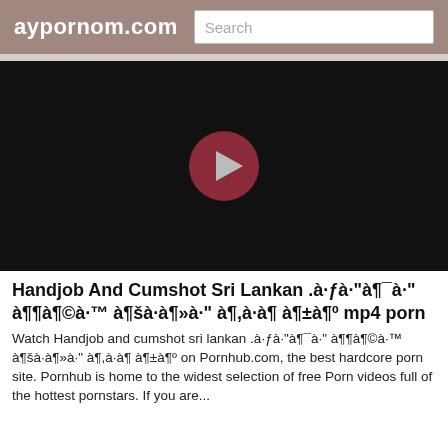aypornom.com  Search
[Figure (screenshot): Black video player area with a dark red circular play button in the center]
Handjob And Cumshot Sri Lankan .à·ƒà·"à¶¯à·" à¶¶à¶©à·™ à¶šà·‍à¶»à·" à¶,à·‍à¶ à¶±à¶º mp4 porn
Watch Handjob and cumshot sri lankan .à·ƒà·"à¶¯à·" à¶¶à¶©à·™ à¶šà·‍à¶»à·" à¶,à·‍à¶ à¶±à¶º on Pornhub.com, the best hardcore porn site. Pornhub is home to the widest selection of free Porn videos full of the hottest pornstars. If you are...